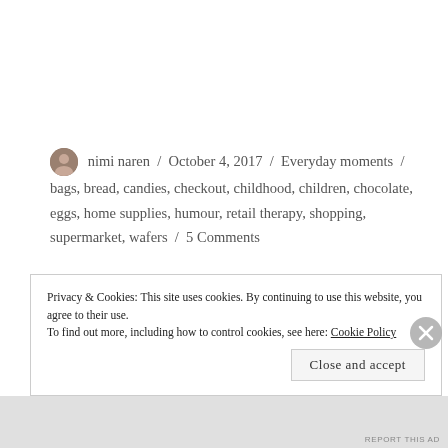nimi naren / October 4, 2017 / Everyday moments / bags, bread, candies, checkout, childhood, children, chocolate, eggs, home supplies, humour, retail therapy, shopping, supermarket, wafers / 5 Comments
Privacy & Cookies: This site uses cookies. By continuing to use this website, you agree to their use. To find out more, including how to control cookies, see here: Cookie Policy
Close and accept